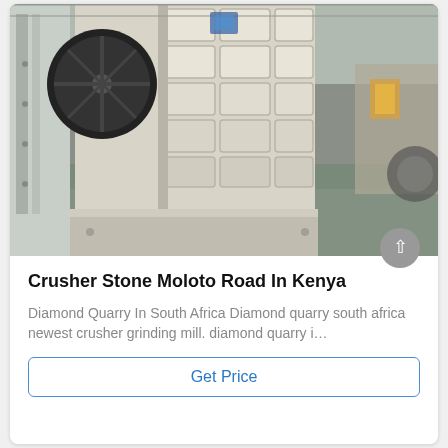[Figure (photo): Industrial jaw crusher machine in a factory/warehouse setting. The machine is large, cream/off-white colored with a grid of rectangular compartments on its face. The factory floor is visible with other industrial equipment in the background.]
Crusher Stone Moloto Road In Kenya
Diamond Quarry In South Africa Diamond quarry south africa newest crusher grinding mill. diamond quarry i…
Get Price